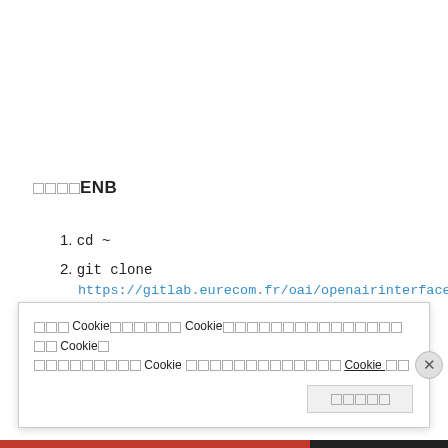□□□□ENB
1. cd ~
2. git clone https://gitlab.eurecom.fr/oai/openairinterface5g.git
3. cd openairinterface5g
4. git checkout
□□□ Cookie□□□□□□ Cookie□□□□□□□□□□□□□□□□□ Cookie□ □□□□□□□□□ Cookie □□□□□□□□□□□□□ Cookie □□